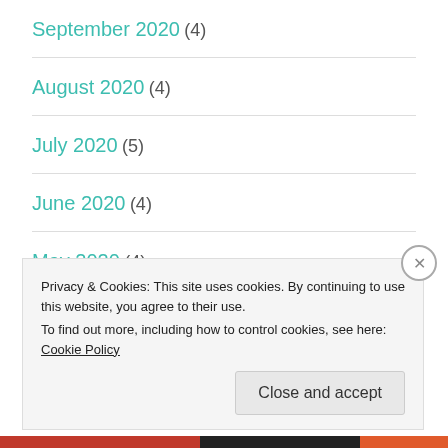September 2020 (4)
August 2020 (4)
July 2020 (5)
June 2020 (4)
May 2020 (4)
April 2020 (5)
Privacy & Cookies: This site uses cookies. By continuing to use this website, you agree to their use.
To find out more, including how to control cookies, see here: Cookie Policy
Close and accept